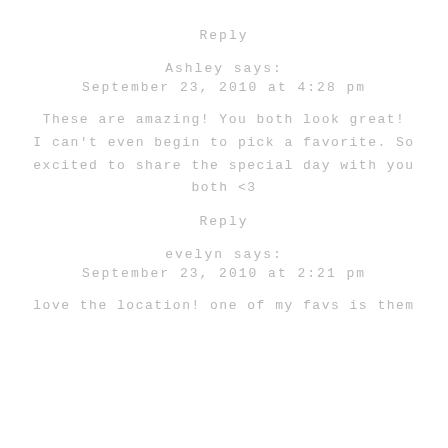Reply
Ashley says:
September 23, 2010 at 4:28 pm
These are amazing! You both look great! I can't even begin to pick a favorite. So excited to share the special day with you both <3
Reply
evelyn says:
September 23, 2010 at 2:21 pm
love the location! one of my favs is them